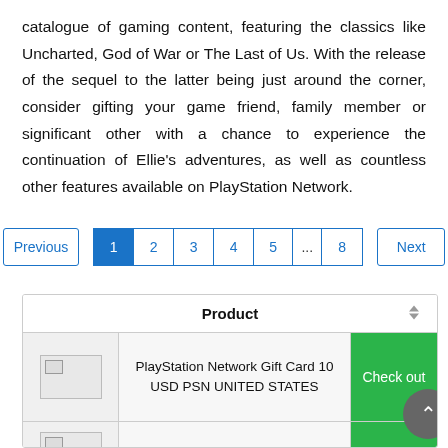catalogue of gaming content, featuring the classics like Uncharted, God of War or The Last of Us. With the release of the sequel to the latter being just around the corner, consider gifting your game friend, family member or significant other with a chance to experience the continuation of Ellie's adventures, as well as countless other features available on PlayStation Network.
[Figure (other): Pagination bar with Previous, page numbers 1 (active/highlighted), 2, 3, 4, 5, ..., 8, and Next buttons]
| Product |
| --- |
| PlayStation Network Gift Card 10 USD PSN UNITED STATES |
| PlayStation Network Gift |